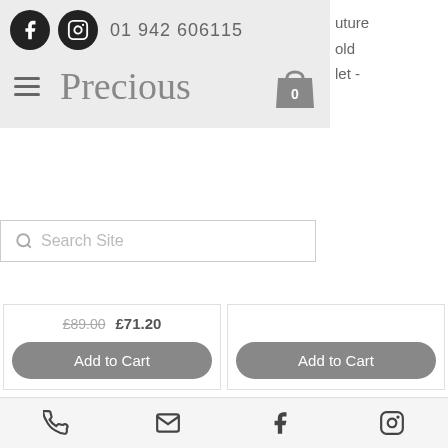Precious - 01 942 606115
Search Site
£89.00  £71.20
Add to Cart
Add to Cart
[Figure (photo): Fossil Stainless Steel blue bracelet with rose gold clasp]
Fossil Stainless
[Figure (photo): Emporio Armani charm bangle bracelet with moon and star charms]
Emporio Armani
Phone, Email, Facebook, Instagram icons